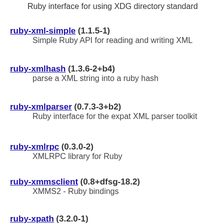Ruby interface for using XDG directory standard
ruby-xml-simple (1.1.5-1)
    Simple Ruby API for reading and writing XML
ruby-xmlhash (1.3.6-2+b4)
    parse a XML string into a ruby hash
ruby-xmlparser (0.7.3-3+b2)
    Ruby interface for the expat XML parser toolkit
ruby-xmlrpc (0.3.0-2)
    XMLRPC library for Ruby
ruby-xmmsclient (0.8+dfsg-18.2)
    XMMS2 - Ruby bindings
ruby-xpath (3.2.0-1)
    Ruby library to generate XPath expressions